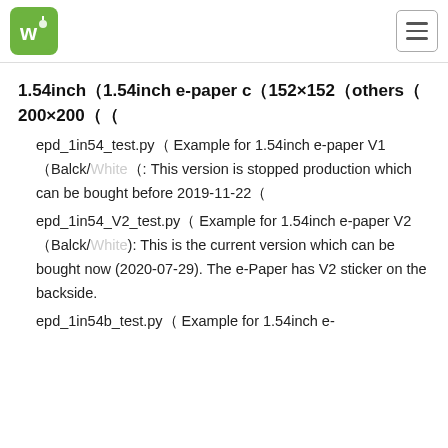Waveshare logo and hamburger menu
1.54inch（1.54inch e-paper c（152×152（others（200×200（（
epd_1in54_test.py（ Example for 1.54inch e-paper V1（Balck/White（: This version is stopped production which can be bought before 2019-11-22（
epd_1in54_V2_test.py（ Example for 1.54inch e-paper V2（Balck/White): This is the current version which can be bought now (2020-07-29). The e-Paper has V2 sticker on the backside.
epd_1in54b_test.py（ Example for 1.54inch e-